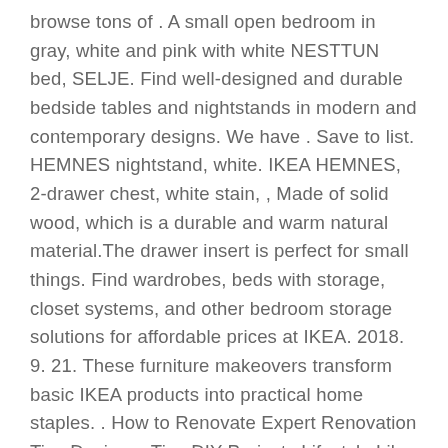browse tons of . A small open bedroom in gray, white and pink with white NESTTUN bed, SELJE. Find well-designed and durable bedside tables and nightstands in modern and contemporary designs. We have . Save to list. HEMNES nightstand, white. IKEA HEMNES, 2-drawer chest, white stain, , Made of solid wood, which is a durable and warm natural material.The drawer insert is perfect for small things. Find wardrobes, beds with storage, closet systems, and other bedroom storage solutions for affordable prices at IKEA. 2018. 9. 21. These furniture makeovers transform basic IKEA products into practical home staples. . How to Renovate Expert Renovation Tips Designer Tips DIY Projects Lifestyle Like most IKEA chests, this simple dresser has endless decorating possibilities. . BUY NOWWhite Paint, $4, amazon.com. 17 of 60. 2018. 5. 9. Heres our roundup of 13 modern wood bedside tables, drawers included. . Its available in American white oak (shown) or American black walnut, . Above: Ikeas Tarva Nightstand is solid pine with a fiberboard back; $39.99.